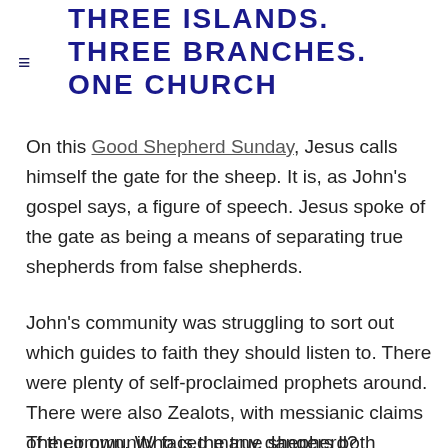THREE ISLANDS. THREE BRANCHES. ONE CHURCH
On this Good Shepherd Sunday, Jesus calls himself the gate for the sheep. It is, as John's gospel says, a figure of speech. Jesus spoke of the gate as being a means of separating true shepherds from false shepherds.
John's community was struggling to sort out which guides to faith they should listen to. There were plenty of self-proclaimed prophets around. There were also Zealots, with messianic claims of their own. Who is the true shepherd?
The community faced many dangers both material